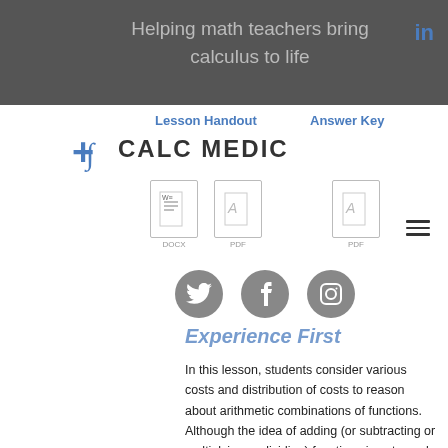Helping math teachers bring calculus to life
[Figure (logo): Calc Medic logo with blue plus sign and CALC MEDIC text, with Lesson Handout and Answer Key navigation links and file icons (DOCX, PDF)]
[Figure (infographic): Social media icons: Twitter, Facebook, Instagram]
Experience First
In this lesson, students consider various costs and distribution of costs to reason about arithmetic combinations of functions. Although the idea of adding (or subtracting or multiplying or dividing) functions is not novel for students, interpreting such situations in context can be more challenging. For some students,